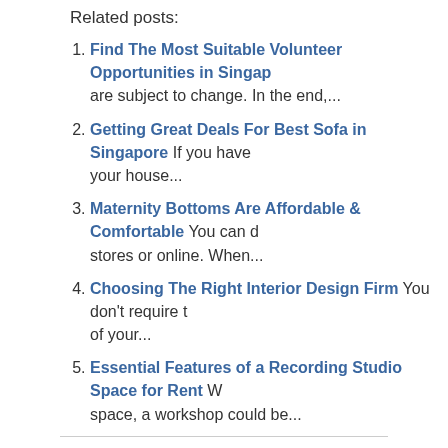Related posts:
Find The Most Suitable Volunteer Opportunities in Singapore are subject to change. In the end,...
Getting Great Deals For Best Sofa in Singapore If you have your house...
Maternity Bottoms Are Affordable & Comfortable You can do stores or online. When...
Choosing The Right Interior Design Firm You don't require t of your...
Essential Features of a Recording Studio Space for Rent W space, a workshop could be...
PREVIOUS POST: Javascript:日本語テキスト
NEXT POST: Essential Features of a Recording Studio Space for R